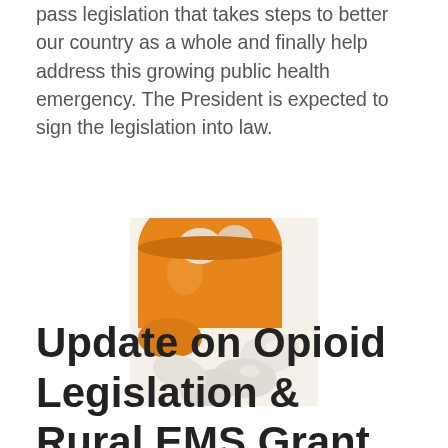pass legislation that takes steps to better our country as a whole and finally help address this growing public health emergency. The President is expected to sign the legislation into law.
[Figure (photo): Close-up photo of white pills/tablets spilling out of an orange prescription pill bottle.]
Update on Opioid Legislation & Rural EMS Grant Program